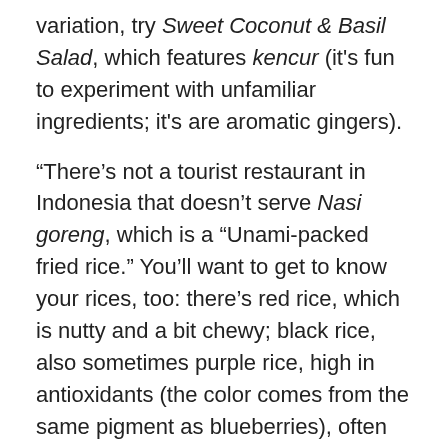variation, try Sweet Coconut & Basil Salad, which features kencur (it's fun to experiment with unfamiliar ingredients; it's are aromatic gingers).
“There’s not a tourist restaurant in Indonesia that doesn’t serve Nasi goreng, which is a “Unami-packed fried rice.” You’ll want to get to know your rices, too: there’s red rice, which is nutty and a bit chewy; black rice, also sometimes purple rice, high in antioxidants (the color comes from the same pigment as blueberries), often served in a pudding with salted coconut cream; white rice, which is brown when the bran layer is intact), best if you buy the long-grained Jasmine which carries a delicate perfume.
You’ll want to know about sambal, too: it’s a “spicy crescendo” and often a complement to bumbu. Sambal is a relish, not cooked into the dish but dropped onto the top.